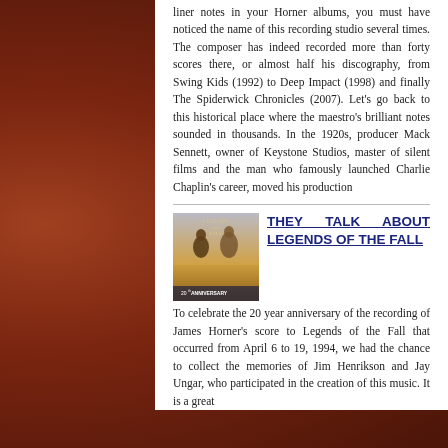liner notes in your Horner albums, you must have noticed the name of this recording studio several times. The composer has indeed recorded more than forty scores there, or almost half his discography, from Swing Kids (1992) to Deep Impact (1998) and finally The Spiderwick Chronicles (2007). Let's go back to this historical place where the maestro's brilliant notes sounded in thousands. In the 1920s, producer Mack Sennett, owner of Keystone Studios, master of silent films and the man who famously launched Charlie Chaplin's career, moved his production
[Figure (photo): Album cover for Legends of the Fall 20th Anniversary edition showing two people facing each other in a golden field]
THEY TALK ABOUT LEGENDS OF THE FALL
To celebrate the 20 year anniversary of the recording of James Horner's score to Legends of the Fall that occurred from April 6 to 19, 1994, we had the chance to collect the memories of Jim Henrikson and Jay Ungar, who participated in the creation of this music. It is a great